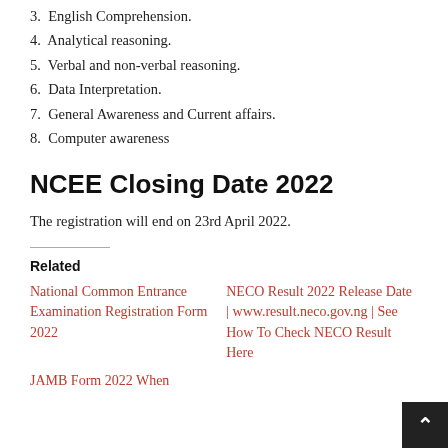3. English Comprehension.
4. Analytical reasoning.
5. Verbal and non-verbal reasoning.
6. Data Interpretation.
7. General Awareness and Current affairs.
8. Computer awareness
NCEE Closing Date 2022
The registration will end on 23rd April 2022.
Related
National Common Entrance Examination Registration Form 2022
NECO Result 2022 Release Date | www.result.neco.gov.ng | See How To Check NECO Result Here
JAMB Form 2022 When